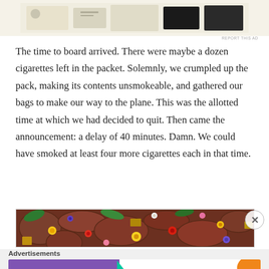[Figure (screenshot): Top advertisement area showing partial ad with paper/card images on cream background]
The time to board arrived. There were maybe a dozen cigarettes left in the packet. Solemnly, we crumpled up the pack, making its contents unsmokeable, and gathered our bags to make our way to the plane. This was the allotted time at which we had decided to quit. Then came the announcement: a delay of 40 minutes. Damn. We could have smoked at least four more cigarettes each in that time.
[Figure (photo): Overhead view of colorful flower offerings and decorative items arranged on stone pavement]
Advertisements
[Figure (screenshot): WooCommerce advertisement banner with purple background, WooCommerce logo on left and text 'How to start selling subscriptions online' on white right side with orange accent shape]